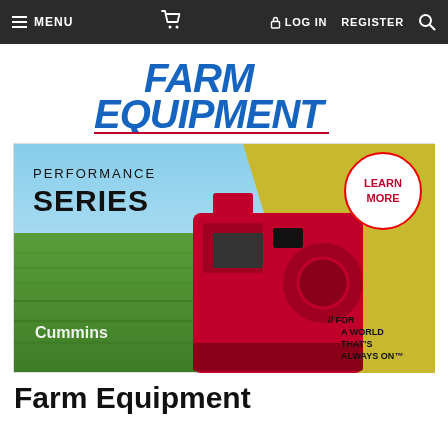MENU   [cart]   LOG IN   REGISTER   [search]
[Figure (logo): Farm Equipment magazine logo in bold italic blue text with red underline bar]
[Figure (illustration): Cummins Performance Series advertisement showing a red diesel engine in the foreground against a green crop field with text: PERFORMANCE SERIES, LEARN MORE, FOR A WORLD THAT'S ALWAYS ON]
Farm Equipment